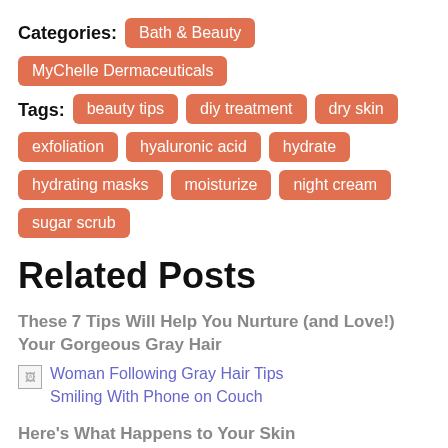Categories: Bath & Beauty  MyChelle Dermaceuticals
Tags: beauty tips  diy treatment  dry skin  exfoliation  hyaluronic acid  hydrate  hydrating masks  moisturize  night cream  sugar scrub
Related Posts
These 7 Tips Will Help You Nurture (and Love!) Your Gorgeous Gray Hair
[Figure (photo): Woman Following Gray Hair Tips Smiling With Phone on Couch]
Here's What Happens to Your Skin